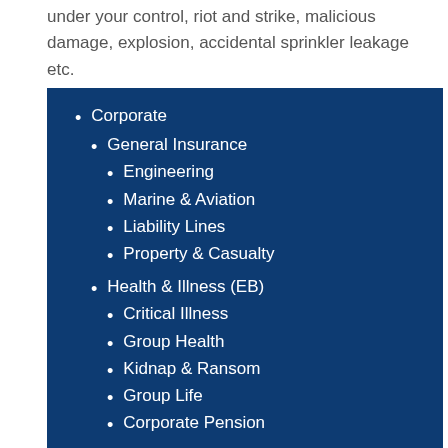under your control, riot and strike, malicious damage, explosion, accidental sprinkler leakage etc.
Corporate
General Insurance
Engineering
Marine & Aviation
Liability Lines
Property & Casualty
Health & Illness (EB)
Critical Illness
Group Health
Kidnap & Ransom
Group Life
Corporate Pension